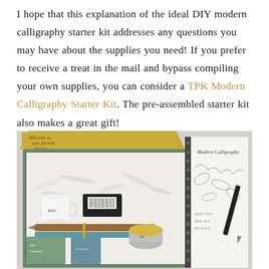I hope that this explanation of the ideal DIY modern calligraphy starter kit addresses any questions you may have about the supplies you need! If you prefer to receive a treat in the mail and bypass compiling your own supplies, you can consider a TPK Modern Calligraphy Starter Kit. The pre-assembled starter kit also makes a great gift!
[Figure (photo): A photograph of an open TPK Modern Calligraphy Starter Kit box, showing calligraphy supplies nestled in white packing material inside a green box with a yellow illustrated lid. Visible items include a small white mug, a calligraphy pen holder, ink, and a spiral-bound Modern Calligraphy workbook alongside other tools.]